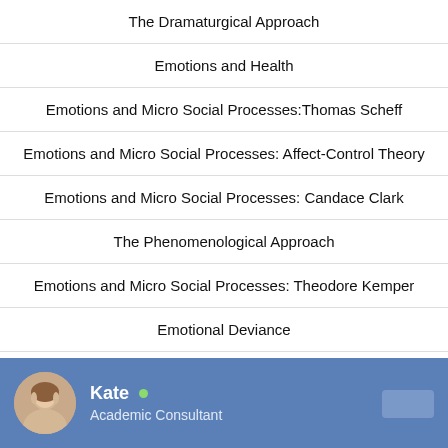The Dramaturgical Approach
Emotions and Health
Emotions and Micro Social Processes:Thomas Scheff
Emotions and Micro Social Processes: Affect-Control Theory
Emotions and Micro Social Processes: Candace Clark
The Phenomenological Approach
Emotions and Micro Social Processes: Theodore Kemper
Emotional Deviance
Social Structural Effects on Emotions
Kate • Academic Consultant